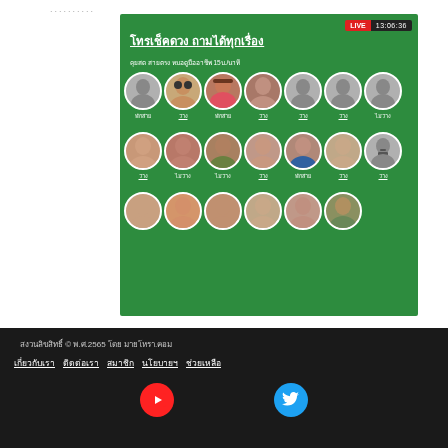..........
[Figure (screenshot): Thai live fortune-telling service screenshot showing green background with LIVE timestamp 13:06:36, title text in Thai, and a grid of fortune teller avatars in three rows with availability status labels (พักสาย, ว่าง, ไม่ว่าง) below each avatar.]
สงวนลิขสิทธิ์ © พ.ศ.2565 โดย มายโหรา.คอม
เกี่ยวกับเรา ติดต่อเรา สมาชิก นโยบายฯ ช่วยเหลือ